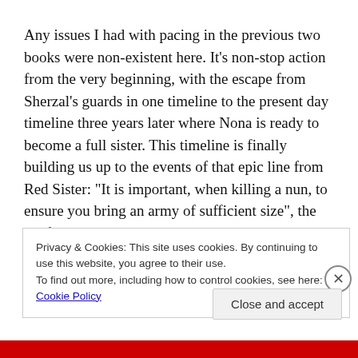Any issues I had with pacing in the previous two books were non-existent here. It's non-stop action from the very beginning, with the escape from Sherzal's guards in one timeline to the present day timeline three years later where Nona is ready to become a full sister. This timeline is finally building us up to the events of that epic line from Red Sister: “It is important, when killing a nun, to ensure you bring an army of sufficient size”, the conflicts between
Privacy & Cookies: This site uses cookies. By continuing to use this website, you agree to their use.
To find out more, including how to control cookies, see here: Cookie Policy
Close and accept